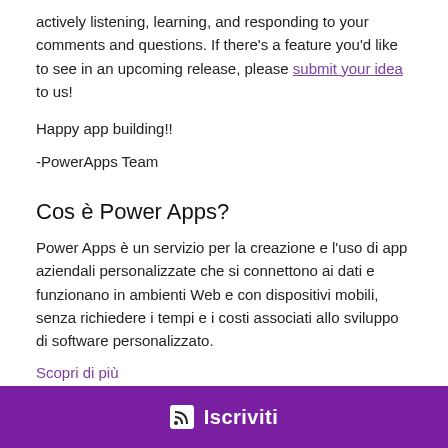actively listening, learning, and responding to your comments and questions. If there's a feature you'd like to see in an upcoming release, please submit your idea to us!
Happy app building!!
-PowerApps Team
Cos è Power Apps?
Power Apps è un servizio per la creazione e l'uso di app aziendali personalizzate che si connettono ai dati e funzionano in ambienti Web e con dispositivi mobili, senza richiedere i tempi e i costi associati allo sviluppo di software personalizzato.
Scopri di più
[Figure (other): Purple subscribe button with RSS icon and 'Iscriviti' text]